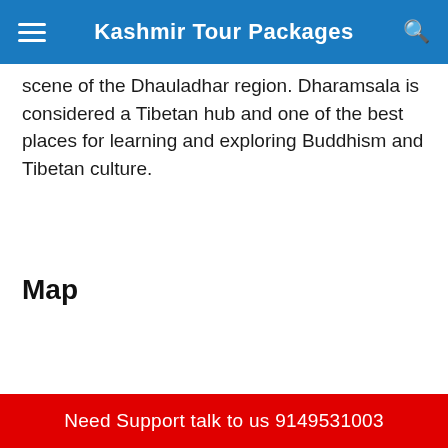Kashmir Tour Packages
scene of the Dhauladhar region. Dharamsala is considered a Tibetan hub and one of the best places for learning and exploring Buddhism and Tibetan culture.
Map
Need Support talk to us 9149531003